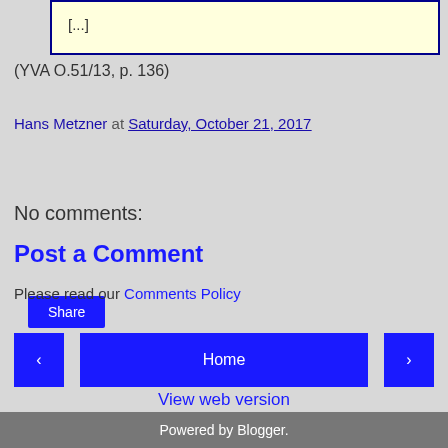[...]
(YVA O.51/13, p. 136)
Hans Metzner at Saturday, October 21, 2017
Share
No comments:
Post a Comment
Please read our Comments Policy
Home
View web version
Powered by Blogger.